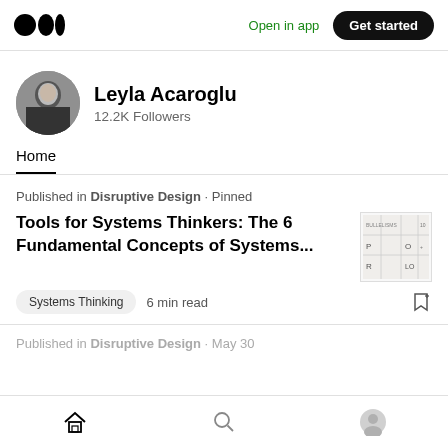Open in app  Get started
Leyla Acaroglu
12.2K Followers
Home
Published in Disruptive Design · Pinned
Tools for Systems Thinkers: The 6 Fundamental Concepts of Systems...
[Figure (photo): Thumbnail image for the article about Systems Thinking showing a table/chart graphic]
Systems Thinking  6 min read
Published in Disruptive Design  May 30